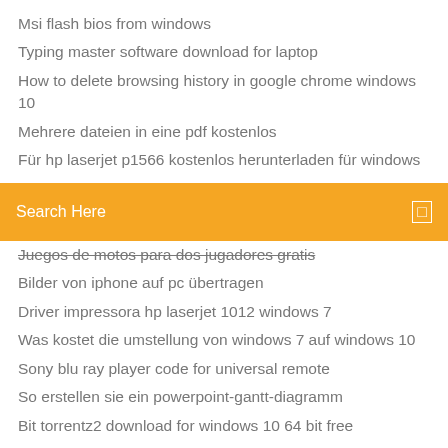Msi flash bios from windows
Typing master software download for laptop
How to delete browsing history in google chrome windows 10
Mehrere dateien in eine pdf kostenlos
Für hp laserjet p1566 kostenlos herunterladen für windows
Search Here
Juegos de motos para dos jugadores gratis
Bilder von iphone auf pc übertragen
Driver impressora hp laserjet 1012 windows 7
Was kostet die umstellung von windows 7 auf windows 10
Sony blu ray player code for universal remote
So erstellen sie ein powerpoint-gantt-diagramm
Bit torrentz2 download for windows 10 64 bit free
How to import contacts from android to gmail account
Wlan aktiv aber kein internet laptop
Product key office 2007 auslesen
How to screenshot on windows 10 surface pro 3